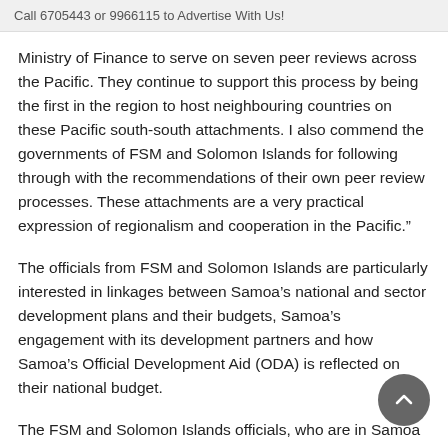Call 6705443 or 9966115 to Advertise With Us!
Ministry of Finance to serve on seven peer reviews across the Pacific. They continue to support this process by being the first in the region to host neighbouring countries on these Pacific south-south attachments. I also commend the governments of FSM and Solomon Islands for following through with the recommendations of their own peer review processes. These attachments are a very practical expression of regionalism and cooperation in the Pacific.”
The officials from FSM and Solomon Islands are particularly interested in linkages between Samoa’s national and sector development plans and their budgets, Samoa’s engagement with its development partners and how Samoa’s Official Development Aid (ODA) is reflected on their national budget.
The FSM and Solomon Islands officials, who are in Samoa from 19 – 30 May, will conclude their attachment with exit reports to